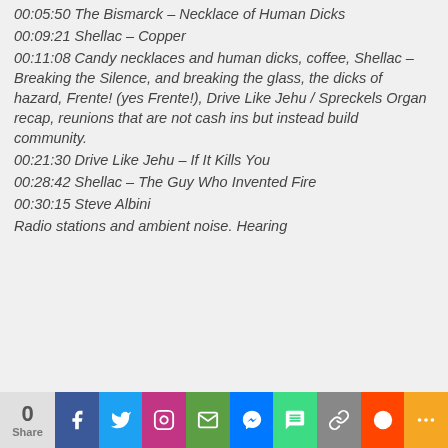00:05:50 The Bismarck – Necklace of Human Dicks
00:09:21 Shellac – Copper
00:11:08 Candy necklaces and human dicks, coffee, Shellac – Breaking the Silence, and breaking the glass, the dicks of hazard, Frente! (yes Frente!), Drive Like Jehu / Spreckels Organ recap, reunions that are not cash ins but instead build community.
00:21:30 Drive Like Jehu – If It Kills You
00:28:42 Shellac – The Guy Who Invented Fire
00:30:15 Steve Albini
Radio stations and ambient noise. Hearing